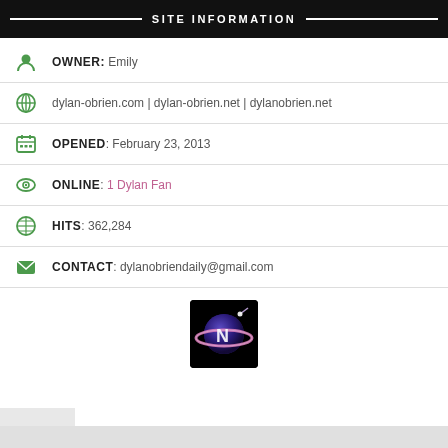SITE INFORMATION
OWNER: Emily
dylan-obrien.com | dylan-obrien.net | dylanobrien.net
OPENED: February 23, 2013
ONLINE: 1 Dylan Fan
HITS: 362,284
CONTACT: dylanobriendaily@gmail.com
[Figure (logo): Planet/satellite logo icon on black background]